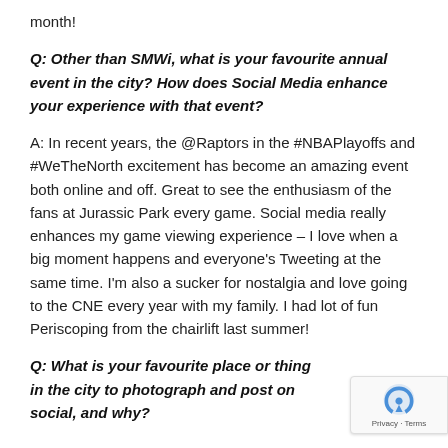month!
Q: Other than SMWi, what is your favourite annual event in the city? How does Social Media enhance your experience with that event?
A: In recent years, the @Raptors in the #NBAPlayoffs and #WeTheNorth excitement has become an amazing event both online and off. Great to see the enthusiasm of the fans at Jurassic Park every game. Social media really enhances my game viewing experience – I love when a big moment happens and everyone's Tweeting at the same time. I'm also a sucker for nostalgia and love going to the CNE every year with my family. I had lot of fun Periscoping from the chairlift last summer!
Q: What is your favourite place or thing in the city to photograph and post on social, and why?